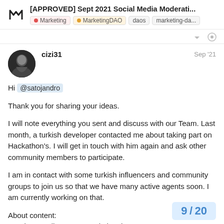[APPROVED] Sept 2021 Social Media Moderati... | Marketing | MarketingDAO | daos | marketing-da...
cizi31
Sep '21
Hi @satojandro

Thank you for sharing your ideas.

I will note everything you sent and discuss with our Team. Last month, a turkish developer contacted me about taking part on Hackathon's. I will get in touch with him again and ask other community members to participate.

I am in contact with some turkish influencers and community groups to join us so that we have many active agents soon. I am currently working on that.

About content:
Mostly our editors are translating the art
9 / 20